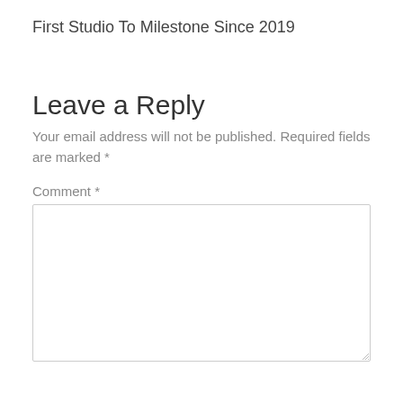First Studio To Milestone Since 2019
Leave a Reply
Your email address will not be published. Required fields are marked *
Comment *